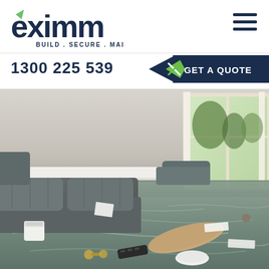[Figure (logo): eximm logo with tagline BUILD . SECURE . MAINTAIN in dark navy, with green leaf/arrow accent]
[Figure (other): Hamburger menu icon (three horizontal dark navy lines)]
1300 225 539
[Figure (other): GET A QUOTE button - dark navy background with green arrow/chevron accent on left]
[Figure (photo): Flooded living room interior with dark grey sofa cushions submerged in water, various objects floating including a wooden board, remote control, small white containers, dumbbell parts; bright window visible in background with garden view]